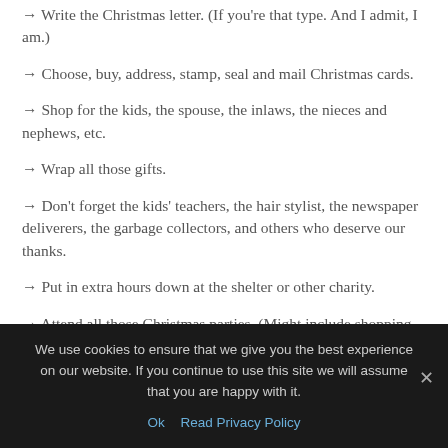→ Write the Christmas letter. (If you're that type. And I admit, I am.)
→ Choose, buy, address, stamp, seal and mail Christmas cards.
→ Shop for the kids, the spouse, the inlaws, the nieces and nephews, etc.
→ Wrap all those gifts.
→ Don't forget the kids' teachers, the hair stylist, the newspaper deliverers, the garbage collectors, and others who deserve our thanks.
→ Put in extra hours down at the shelter or other charity.
→ Attend all those Christmas parties. (Might include shopping
We use cookies to ensure that we give you the best experience on our website. If you continue to use this site we will assume that you are happy with it.
Ok   Read Privacy Policy